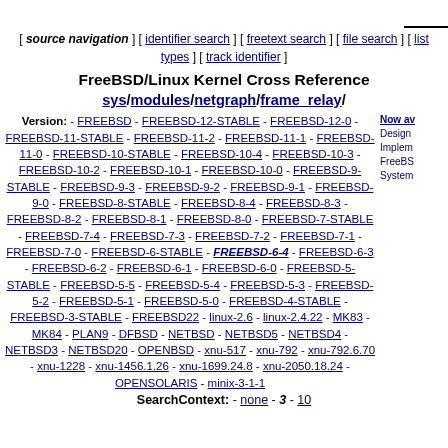[ source navigation ] [ identifier search ] [ freetext search ] [ file search ] [ list types ] [ track identifier ]
FreeBSD/Linux Kernel Cross Reference sys/modules/netgraph/frame_relay/
Version: - FREEBSD - FREEBSD-12-STABLE - FREEBSD-12-0 - FREEBSD-11-STABLE - FREEBSD-11-2 - FREEBSD-11-1 - FREEBSD-11-0 - FREEBSD-10-STABLE - FREEBSD-10-4 - FREEBSD-10-3 - FREEBSD-10-2 - FREEBSD-10-1 - FREEBSD-10-0 - FREEBSD-9-STABLE - FREEBSD-9-3 - FREEBSD-9-2 - FREEBSD-9-1 - FREEBSD-9-0 - FREEBSD-8-STABLE - FREEBSD-8-4 - FREEBSD-8-3 - FREEBSD-8-2 - FREEBSD-8-1 - FREEBSD-8-0 - FREEBSD-7-STABLE - FREEBSD-7-4 - FREEBSD-7-3 - FREEBSD-7-2 - FREEBSD-7-1 - FREEBSD-7-0 - FREEBSD-6-STABLE - FREEBSD-6-4 - FREEBSD-6-3 - FREEBSD-6-2 - FREEBSD-6-1 - FREEBSD-6-0 - FREEBSD-5-STABLE - FREEBSD-5-5 - FREEBSD-5-4 - FREEBSD-5-3 - FREEBSD-5-2 - FREEBSD-5-1 - FREEBSD-5-0 - FREEBSD-4-STABLE - FREEBSD-3-STABLE - FREEBSD22 - linux-2.6 - linux-2.4.22 - MK83 - MK84 - PLAN9 - DFBSD - NETBSD - NETBSD5 - NETBSD4 - NETBSD3 - NETBSD20 - OPENBSD - xnu-517 - xnu-792 - xnu-792.6.70 - xnu-1228 - xnu-1456.1.26 - xnu-1699.24.8 - xnu-2050.18.24 - OPENSOLARIS - minix-3-1-1
SearchContext: - none - 3 - 10